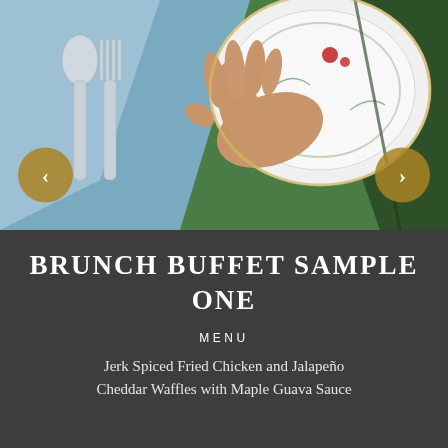[Figure (photo): Close-up photo of a dining table setting with a decorative plate, silver fork and spoon on a blue napkin, and a green table surface. A hand is visible reaching toward the plate.]
BRUNCH BUFFET SAMPLE ONE
MENU
Jerk Spiced Fried Chicken and Jalapeño Cheddar Waffles with Maple Guava Sauce